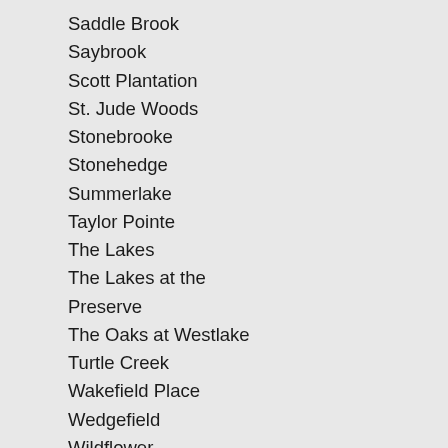Saddle Brook
Saybrook
Scott Plantation
St. Jude Woods
Stonebrooke
Stonehedge
Summerlake
Taylor Pointe
The Lakes
The Lakes at the Preserve
The Oaks at Westlake
Turtle Creek
Wakefield Place
Wedgefield
Wildflower
Woodbury Forest
Woodbridge
Woodbridge Place